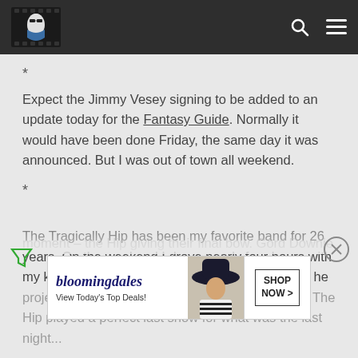[Figure (logo): Website logo: stylized illustration of a person wearing sunglasses in a film/camera frame with blue accent]
*
Expect the Jimmy Vesey signing to be added to an update today for the Fantasy Guide. Normally it would have been done Friday, the same day it was announced. But I was out of town all weekend.
*
The Tragically Hip has been my favorite band for 26 years. On the weekend I drove nearly four hours with my kids to an old high school buddy's farm where he projected the final concert on the wall of his barn. The Hip played a perfect last show for what was the last night... moment – the Hip giving their final bow. Gord Downie...
[Figure (illustration): Bloomingdale's advertisement: logo text 'bloomingdales' with tagline 'View Today's Top Deals!' alongside a photo of a woman in a large hat, and a 'SHOP NOW >' button]